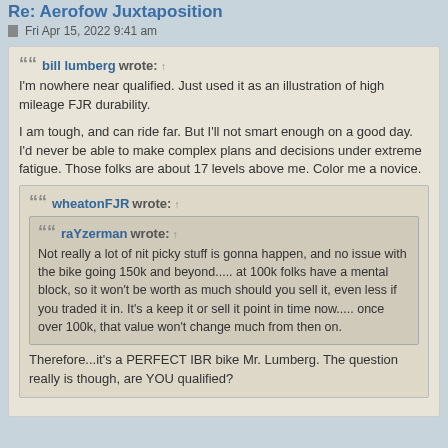Re: Aerofow Juxtaposition
Fri Apr 15, 2022 9:41 am
bill lumberg wrote: ↑
I'm nowhere near qualified. Just used it as an illustration of high mileage FJR durability.

I am tough, and can ride far. But I'll not smart enough on a good day. I'd never be able to make complex plans and decisions under extreme fatigue. Those folks are about 17 levels above me. Color me a novice.
wheatonFJR wrote: ↑
raYzerman wrote: ↑
Not really a lot of nit picky stuff is gonna happen, and no issue with the bike going 150k and beyond..... at 100k folks have a mental block, so it won't be worth as much should you sell it, even less if you traded it in. It's a keep it or sell it point in time now..... once over 100k, that value won't change much from then on.

Therefore...it's a PERFECT IBR bike Mr. Lumberg. The question really is though, are YOU qualified?